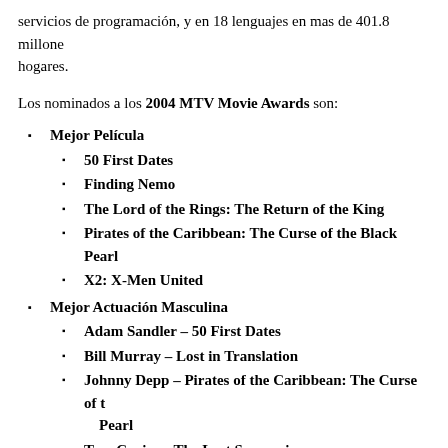servicios de programación, y en 18 lenguajes en mas de 401.8 millones de hogares.
Los nominados a los 2004 MTV Movie Awards son:
Mejor Película
50 First Dates
Finding Nemo
The Lord of the Rings: The Return of the King
Pirates of the Caribbean: The Curse of the Black Pearl
X2: X-Men United
Mejor Actuación Masculina
Adam Sandler – 50 First Dates
Bill Murray – Lost in Translation
Johnny Depp – Pirates of the Caribbean: The Curse of the Black Pearl
Tom Cruise – The Last Samurai
Jim Caviezel – The Passion of the Christ
Mejor Actuación Femenina